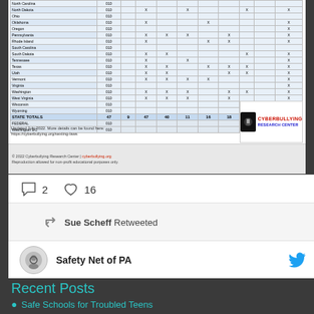[Figure (screenshot): Screenshot of a table from cyberbullying.org showing state sexting laws, with rows for various US states (North Carolina, North Dakota, Ohio, Oklahoma, Oregon, Pennsylvania, Rhode Island, South Carolina, South Dakota, Tennessee, Texas, Utah, Vermont, Virginia, Washington, West Virginia, Wisconsin, Wyoming) and totals rows for STATE TOTALS, FEDERAL, and Washington DC. The table has columns for various legal provisions marked with X. An updated note says 'Updated July 2022. More details can be found here: https://cyberbullying.org/sexting-laws'. A Cyberbullying Research Center logo appears in the corner. Footer reads '© 2022 Cyberbullying Research Center | cyberbullying.org Reproduction allowed for non-profit educational purposes only.']
2  16
Sue Scheff Retweeted
Safety Net of PA
Recent Posts
Safe Schools for Troubled Teens
3 Reasons for Therapeutic Boarding Schools
Help For Struggling Young Adults